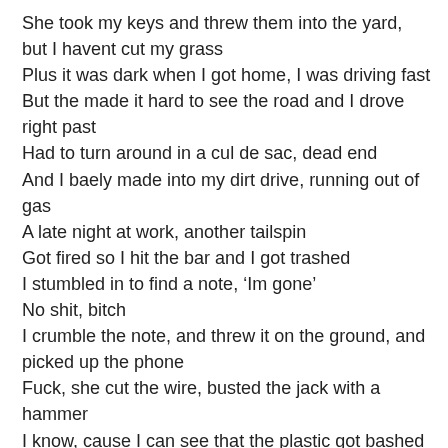She took my keys and threw them into the yard, but I havent cut my grass
Plus it was dark when I got home, I was driving fast
But the made it hard to see the road and I drove right past
Had to turn around in a cul de sac, dead end
And I baely made into my dirt drive, running out of gas
A late night at work, another tailspin
Got fired so I hit the bar and I got trashed
I stumbled in to find a note, ‘Im gone’
No shit, bitch
I crumble the note, and threw it on the ground, and picked up the phone
Fuck, she cut the wire, busted the jack with a hammer
I know, cause I can see that the plastic got bashed

I was so mad, I went sober